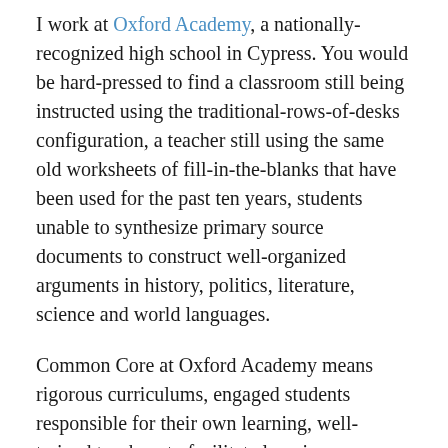I work at Oxford Academy, a nationally-recognized high school in Cypress. You would be hard-pressed to find a classroom still being instructed using the traditional-rows-of-desks configuration, a teacher still using the same old worksheets of fill-in-the-blanks that have been used for the past ten years, students unable to synthesize primary source documents to construct well-organized arguments in history, politics, literature, science and world languages.
Common Core at Oxford Academy means rigorous curriculums, engaged students responsible for their own learning, well-trained teachers to facilitate learning, an expectation that all students can learn and excel, and an openness to believe that our educational system can only get better.
Do challenges exist with the Common Core? Absolutely. No program, regardless the industry, is flawless, but Common Core is a step in the right direction, and I teach at a campus that allows me to say just that. I've seen it in